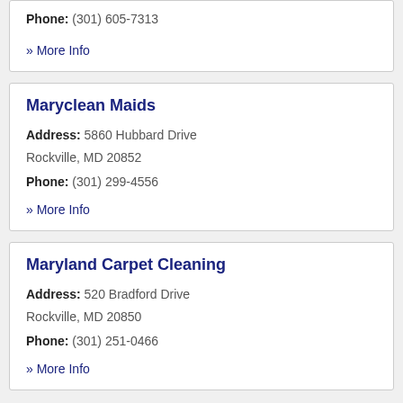Phone: (301) 605-7313
» More Info
Maryclean Maids
Address: 5860 Hubbard Drive Rockville, MD 20852
Phone: (301) 299-4556
» More Info
Maryland Carpet Cleaning
Address: 520 Bradford Drive Rockville, MD 20850
Phone: (301) 251-0466
» More Info